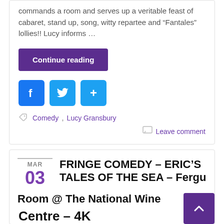commands a room and serves up a veritable feast of cabaret, stand up, song, witty repartee and “Fantales” lollies!! Lucy informs …
Continue reading
[Figure (other): Social share icons: Facebook, Twitter, and a generic share button]
Comedy, Lucy Gransbury
Leave comment
FRINGE COMEDY – ERIC’S TALES OF THE SEA – Ferguson Room @ The National Wine Centre – 4K
MAR 03